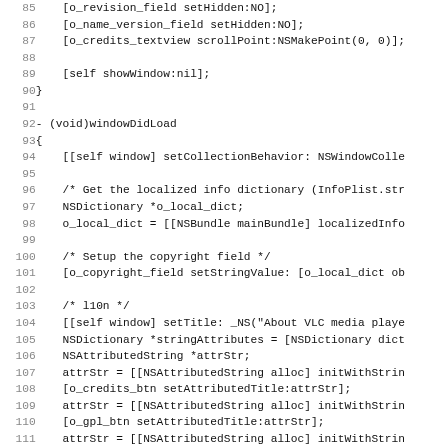Source code listing lines 85-116, Objective-C code for windowDidLoad and related methods